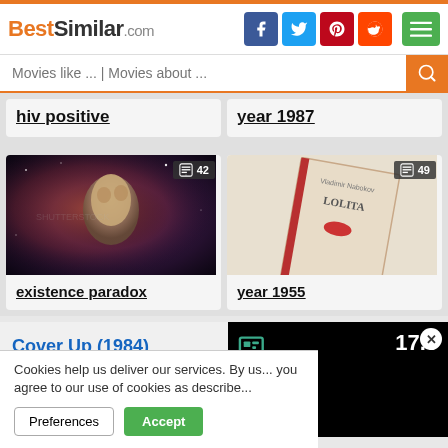BestSimilar.com
Movies like ... | Movies about ...
hiv positive
year 1987
[Figure (photo): Sci-fi image of a metallic humanoid figure against a cosmic nebula background, badge showing 42]
[Figure (photo): A book titled LOLITA with a red lip mark on the cover, badge showing 49]
existence paradox
year 1955
Cover Up (1984)
17.0
Cookies help us deliver our services. By us... you agree to our use of cookies as describe...
Preferences
Accept